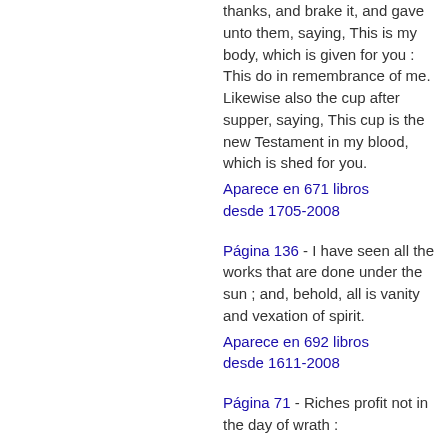thanks, and brake it, and gave unto them, saying, This is my body, which is given for you : This do in remembrance of me. Likewise also the cup after supper, saying, This cup is the new Testament in my blood, which is shed for you.
Aparece en 671 libros desde 1705-2008
Página 136 - I have seen all the works that are done under the sun ; and, behold, all is vanity and vexation of spirit.
Aparece en 692 libros desde 1611-2008
Página 71 - Riches profit not in the day of wrath :